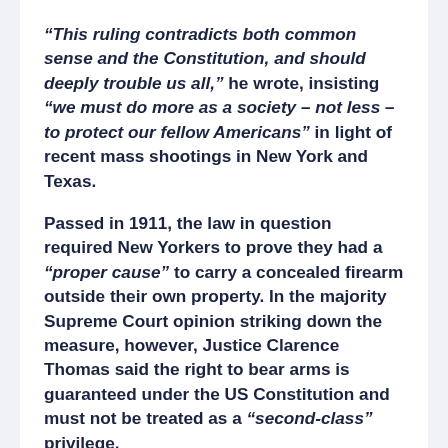“This ruling contradicts both common sense and the Constitution, and should deeply trouble us all,” he wrote, insisting “we must do more as a society – not less – to protect our fellow Americans” in light of recent mass shootings in New York and Texas.
Passed in 1911, the law in question required New Yorkers to prove they had a “proper cause” to carry a concealed firearm outside their own property. In the majority Supreme Court opinion striking down the measure, however, Justice Clarence Thomas said the right to bear arms is guaranteed under the US Constitution and must not be treated as a “second-class” privilege.